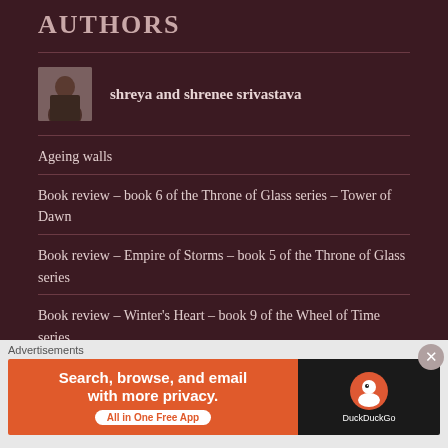AUTHORS
[Figure (photo): Author profile photo of shreya and shrenee srivastava]
shreya and shrenee srivastava
Ageing walls
Book review – book 6 of the Throne of Glass series – Tower of Dawn
Book review – Empire of Storms – book 5 of the Throne of Glass series
Book review – Winter's Heart – book 9 of the Wheel of Time series
[Figure (screenshot): DuckDuckGo advertisement banner: Search, browse, and email with more privacy. All in One Free App]